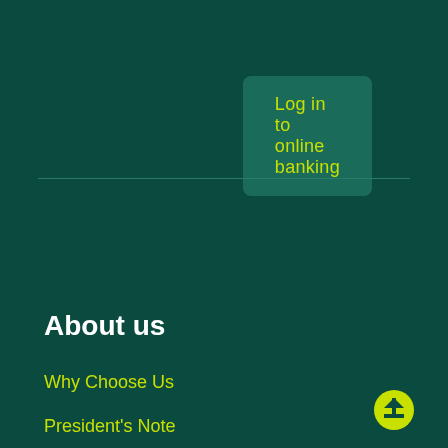Log in to online banking
About us
Why Choose Us
President's Note
Leadership Team
AGM 2021
Services